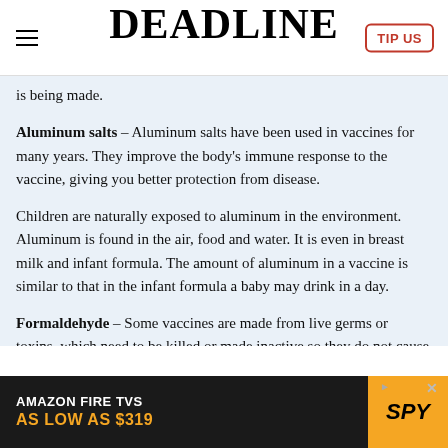DEADLINE
is being made.

Aluminum salts – Aluminum salts have been used in vaccines for many years. They improve the body's immune response to the vaccine, giving you better protection from disease.

Children are naturally exposed to aluminum in the environment. Aluminum is found in the air, food and water. It is even in breast milk and infant formula. The amount of aluminum in a vaccine is similar to that in the infant formula a baby may drink in a day.

Formaldehyde – Some vaccines are made from live germs or toxins, which need to be killed or made inactive so they do not cause disease. Formaldehyde
[Figure (infographic): Amazon Fire TVs advertisement banner: 'AMAZON FIRE TVS / AS LOW AS $319' with SPY logo on yellow/black background]